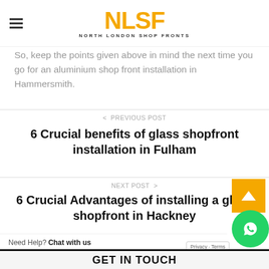NLSF NORTH LONDON SHOP FRONTS
So, keep the points given above in mind the next time you go for an aluminium shop front installation in Hammersmith.
< PREVIOUS POST
6 Crucial benefits of glass shopfront installation in Fulham
NEXT POST >
6 Crucial Advantages of installing a glass shopfront in Hackney
GET IN TOUCH